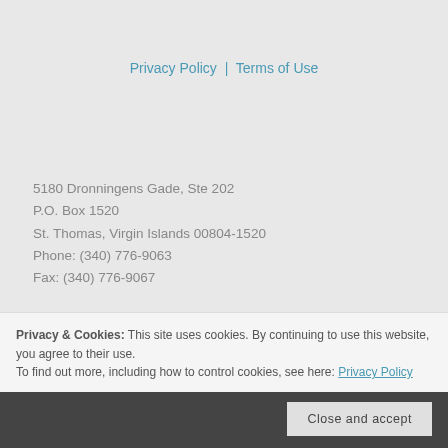Privacy Policy | Terms of Use
5180 Dronningens Gade, Ste 202
P.O. Box 1520
St. Thomas, Virgin Islands 00804-1520
Phone: (340) 776-9063
Fax: (340) 776-9067
Privacy & Cookies: This site uses cookies. By continuing to use this website, you agree to their use.
To find out more, including how to control cookies, see here: Privacy Policy
Close and accept